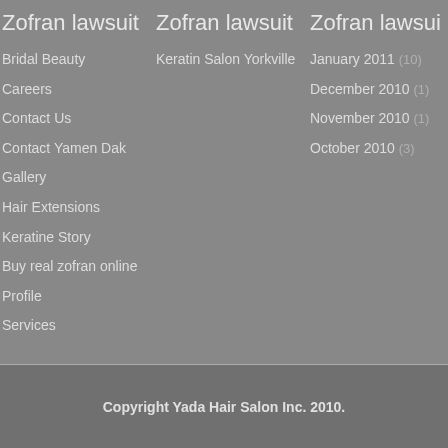Zofran lawsuit
Bridal Beauty
Careers
Contact Us
Contact Yamen Dak
Gallery
Hair Extensions
Keratine Story
Buy real zofran online
Profile
Services
Zofran lawsuit
Keratin Salon Yorkville
Zofran lawsuit
January 2011 (10)
December 2010 (1)
November 2010 (1)
October 2010 (3)
Copyright Yada Hair Salon Inc. 2010.